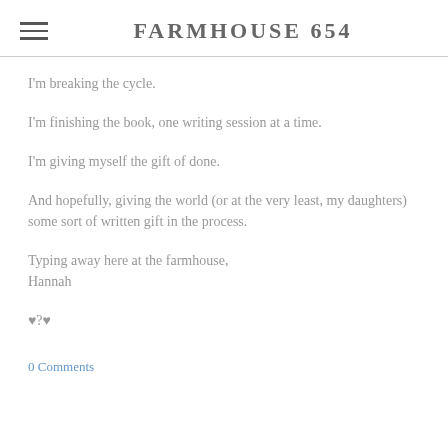FARMHOUSE 654
I'm breaking the cycle.
I'm finishing the book, one writing session at a time.
I'm giving myself the gift of done.
And hopefully, giving the world (or at the very least, my daughters) some sort of written gift in the process.
Typing away here at the farmhouse,
Hannah
♥?♥
0 Comments